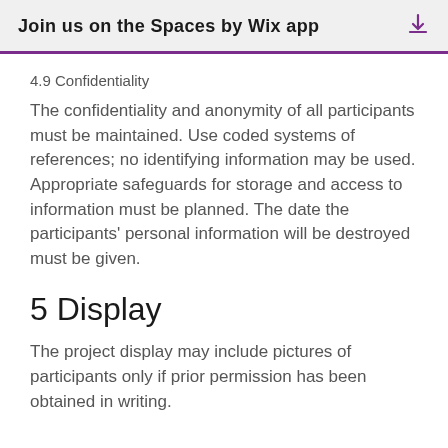Join us on the Spaces by Wix app
4.9 Confidentiality
The confidentiality and anonymity of all participants must be maintained. Use coded systems of references; no identifying information may be used. Appropriate safeguards for storage and access to information must be planned. The date the participants' personal information will be destroyed must be given.
5 Display
The project display may include pictures of participants only if prior permission has been obtained in writing.